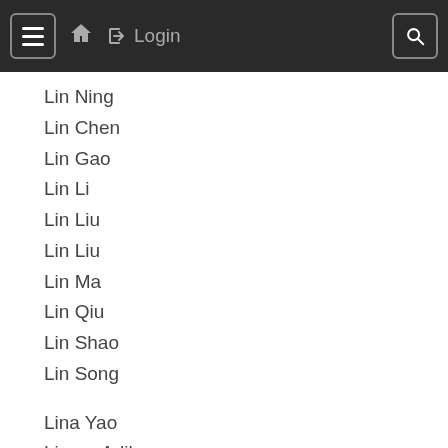☰ 🏠 → Login 🔍
Lin Ning
Lin Chen
Lin Gao
Lin Li
Lin Liu
Lin Liu
Lin Ma
Lin Qiu
Lin Shao
Lin Song
Lina Yao
Linara Adilova
Linchao Zhu
Linda Petrini
Lindsay Edwards
Linfeng Zhang
Linfeng Liu
Ling Pan